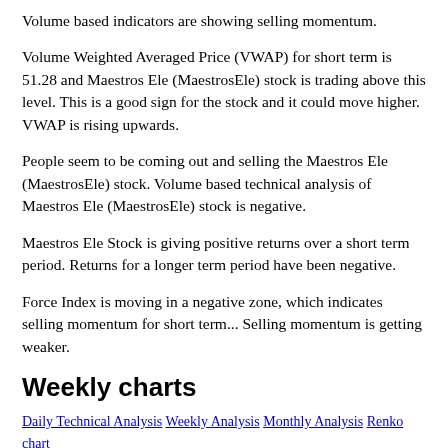Volume based indicators are showing selling momentum.
Volume Weighted Averaged Price (VWAP) for short term is 51.28 and Maestros Ele (MaestrosEle) stock is trading above this level. This is a good sign for the stock and it could move higher. VWAP is rising upwards.
People seem to be coming out and selling the Maestros Ele (MaestrosEle) stock. Volume based technical analysis of Maestros Ele (MaestrosEle) stock is negative.
Maestros Ele Stock is giving positive returns over a short term period. Returns for a longer term period have been negative.
Force Index is moving in a negative zone, which indicates selling momentum for short term... Selling momentum is getting weaker.
Weekly charts
Daily Technical Analysis Weekly Analysis Monthly Analysis Renko chart MACD chart Bollinger Bands chart Stochastics charts Force Index charts